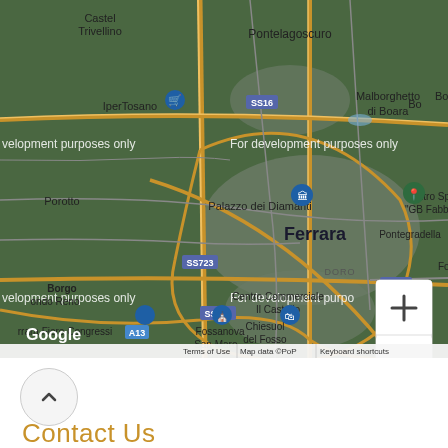[Figure (map): Google Maps screenshot showing Ferrara, Italy. Visible locations include Castel Trivellino, Pontelagoscuro, IperTosano, Malborghetto di Boara, Porotto, Palazzo dei Diamanti, Ferrara (city center), DORO, Centro Commerciale Il Castello, Pontegradella, Borgo Fondo Reno, Ferrara Fiere Congressi, Fossanova San Maron, Chiesuol del Fosso. Road labels: SS16, SS723, SP15, A13. Map has 'For development purposes only' watermark, zoom controls, Google branding, and footer: Terms of Use | Map data ©PoP | Keyboard shortcuts.]
[Figure (other): Upward chevron/arrow button inside a rounded circle, indicating scroll up or expand]
Contact Us